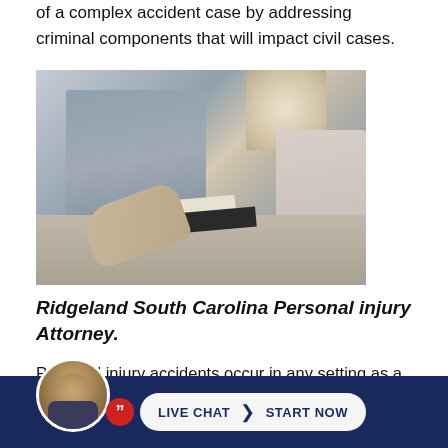of a complex accident case by addressing criminal components that will impact civil cases.
[Figure (photo): Two people at a desk in a business meeting setting, one gesturing with hands over documents, the other partially visible on the right. Bright backlit window in the background.]
Ridgeland South Carolina Personal injury Attorney.
Personal injury accidents occur in any setting as a result of the action, or inaction of another, and a victim may rec... whether
[Figure (photo): Live chat widget at bottom of page: circular avatar of a man in suit, red quote bubble icon, and a white pill-shaped button reading LIVE CHAT > START NOW on a dark navy blue background bar.]